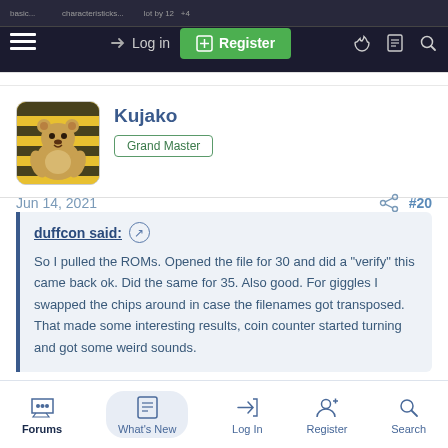Log in | Register
Kujako
Grand Master
Jun 14, 2021  #20
duffcon said: ↗
So I pulled the ROMs. Opened the file for 30 and did a "verify" this came back ok. Did the same for 35. Also good. For giggles I swapped the chips around in case the filenames got transposed. That made some interesting results, coin counter started turning and got some weird sounds.
Check the sockets for dirt?
Forums | What's New | Log In | Register | Search